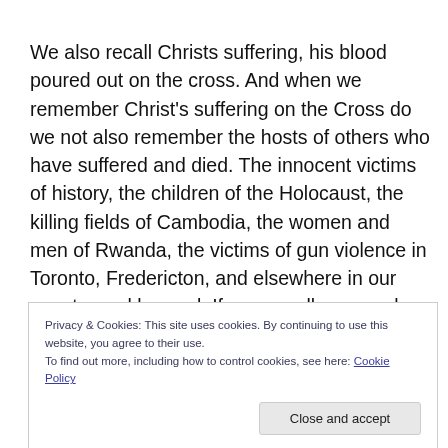We also recall Christs suffering, his blood poured out on the cross. And when we remember Christ's suffering on the Cross do we not also remember the hosts of others who have suffered and died. The innocent victims of history, the children of the Holocaust, the killing fields of Cambodia, the women and men of Rwanda, the victims of gun violence in Toronto, Fredericton, and elsewhere in our country and beyond. If we can allow ourselves to feel the force of this accumulated suffering, we must surely be
Privacy & Cookies: This site uses cookies. By continuing to use this website, you agree to their use.
To find out more, including how to control cookies, see here: Cookie Policy
Close and accept